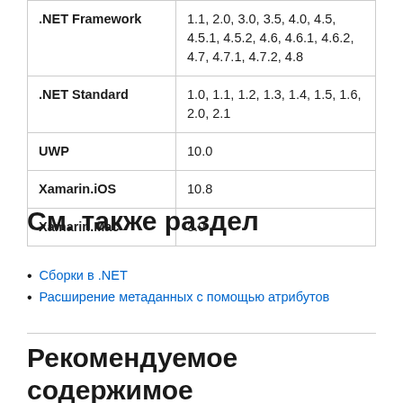| Platform | Version |
| --- | --- |
| .NET Framework | 1.1, 2.0, 3.0, 3.5, 4.0, 4.5, 4.5.1, 4.5.2, 4.6, 4.6.1, 4.6.2, 4.7, 4.7.1, 4.7.2, 4.8 |
| .NET Standard | 1.0, 1.1, 1.2, 1.3, 1.4, 1.5, 1.6, 2.0, 2.1 |
| UWP | 10.0 |
| Xamarin.iOS | 10.8 |
| Xamarin.Mac | 3.0 |
См. также раздел
Сборки в .NET
Расширение метаданных с помощью атрибутов
Рекомендуемое содержимое